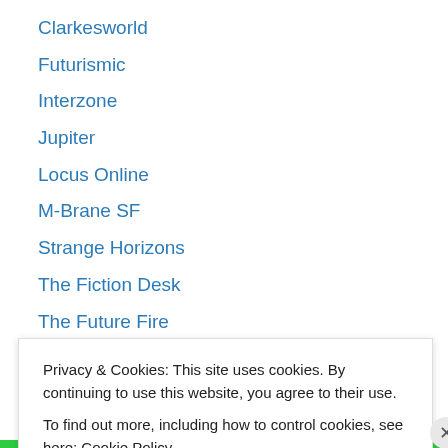Clarkesworld
Futurismic
Interzone
Jupiter
Locus Online
M-Brane SF
Strange Horizons
The Fiction Desk
The Future Fire
Vector (Torque Control)
Other stuff
Privacy & Cookies: This site uses cookies. By continuing to use this website, you agree to their use.
To find out more, including how to control cookies, see here: Cookie Policy